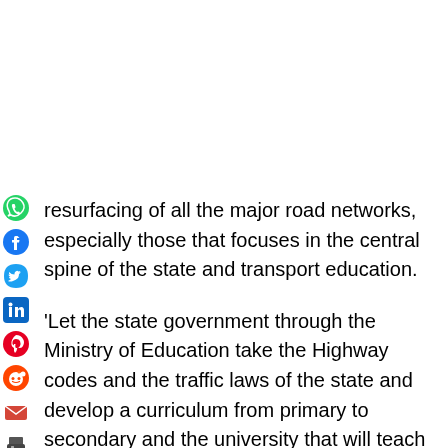resurfacing of all the major road networks, especially those that focuses in the central spine of the state and transport education.
'Let the state government through the Ministry of Education take the Highway codes and the traffic laws of the state and develop a curriculum from primary to secondary and the university that will teach the younger generation transport education.